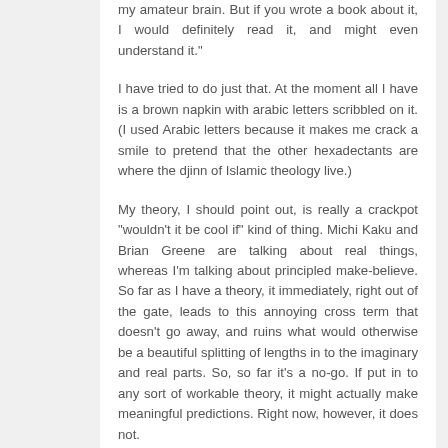my amateur brain. But if you wrote a book about it, I would definitely read it, and might even understand it."
I have tried to do just that. At the moment all I have is a brown napkin with arabic letters scribbled on it. (I used Arabic letters because it makes me crack a smile to pretend that the other hexadectants are where the djinn of Islamic theology live.)
My theory, I should point out, is really a crackpot "wouldn't it be cool if" kind of thing. Michi Kaku and Brian Greene are talking about real things, whereas I'm talking about principled make-believe. So far as I have a theory, it immediately, right out of the gate, leads to this annoying cross term that doesn't go away, and ruins what would otherwise be a beautiful splitting of lengths in to the imaginary and real parts. So, so far it's a no-go. If put in to any sort of workable theory, it might actually make meaningful predictions. Right now, however, it does not.